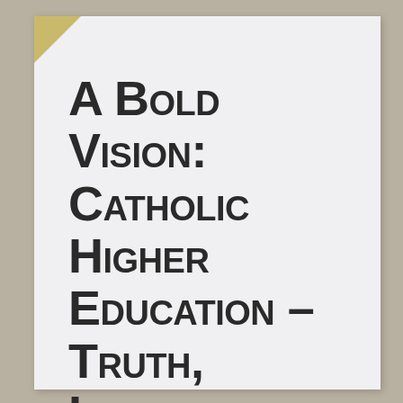A Bold Vision: Catholic Higher Education – Truth, Innovation and